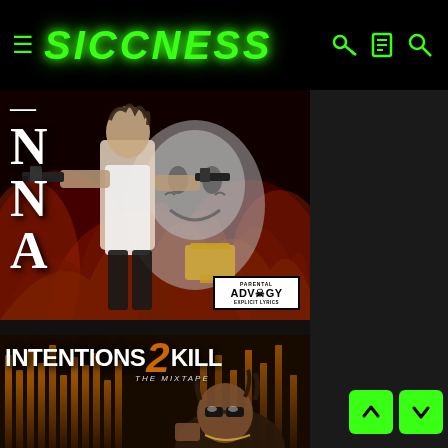SICCNESS
[Figure (photo): Album cover art for a rap/hip-hop album featuring a man holding guns with stylized NNA letters on the left side and a Parental Advisory Explicit Lyrics sticker, dark red and black flames background with a ghost face illustration]
[Figure (photo): Album cover art for 'INTENTIONS 2 KILL - The Mixtape' showing a rapper wearing sunglasses with vertical orange bars in the background and dark moody colors]